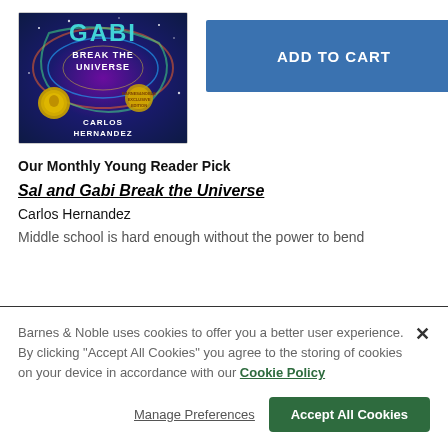[Figure (illustration): Book cover for 'Sal and Gabi Break the Universe' by Carlos Hernandez, showing colorful cosmic/galaxy imagery with Pura Belpré medal and Barnes & Noble Exclusive Edition badge]
ADD TO CART
Our Monthly Young Reader Pick
Sal and Gabi Break the Universe
Carlos Hernandez
Middle school is hard enough without the power to bend
Barnes & Noble uses cookies to offer you a better user experience. By clicking "Accept All Cookies" you agree to the storing of cookies on your device in accordance with our Cookie Policy
Manage Preferences
Accept All Cookies